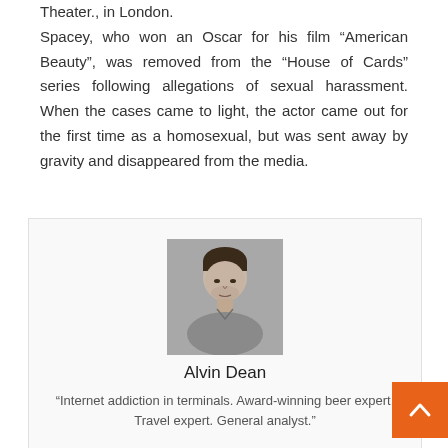Theater., in London.
Spacey, who won an Oscar for his film “American Beauty”, was removed from the “House of Cards” series following allegations of sexual harassment. When the cases came to light, the actor came out for the first time as a homosexual, but was sent away by gravity and disappeared from the media.
[Figure (photo): Headshot photo of Alvin Dean, a man with dark hair and stubble wearing a gray shirt, against a neutral background]
Alvin Dean
“Internet addiction in terminals. Award-winning beer expert. Travel expert. General analyst.”